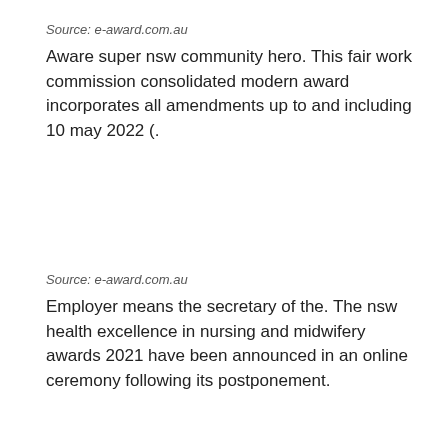Source: e-award.com.au
Aware super nsw community hero. This fair work commission consolidated modern award incorporates all amendments up to and including 10 may 2022 (.
Source: e-award.com.au
Employer means the secretary of the. The nsw health excellence in nursing and midwifery awards 2021 have been announced in an online ceremony following its postponement.